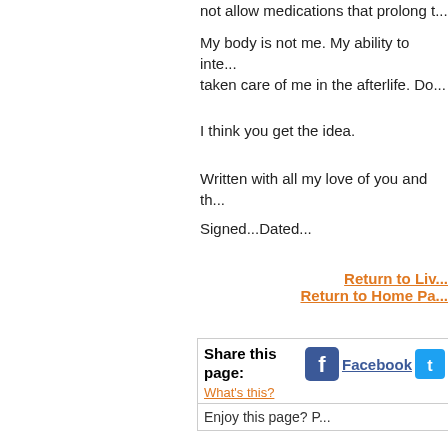not allow medications that prolong t...
My body is not me. My ability to inte... taken care of me in the afterlife. Do...
I think you get the idea.
Written with all my love of you and th...
Signed...Dated...
Return to Liv...
Return to Home Pa...
Share this page:
What's this?
Facebook
Enjoy this page? P...
Copyright © P...
Nothing on this...
to con...
Home   About Us   C...